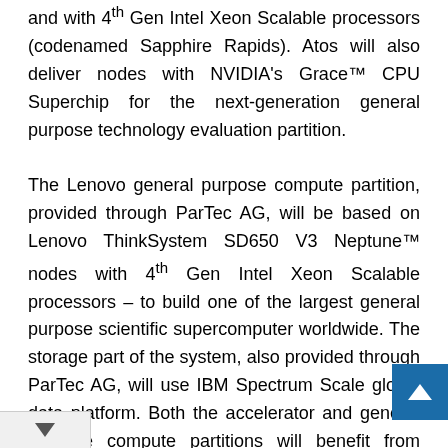and with 4th Gen Intel Xeon Scalable processors (codenamed Sapphire Rapids). Atos will also deliver nodes with NVIDIA's Grace™ CPU Superchip for the next-generation general purpose technology evaluation partition.
The Lenovo general purpose compute partition, provided through ParTec AG, will be based on Lenovo ThinkSystem SD650 V3 Neptune™ nodes with 4th Gen Intel Xeon Scalable processors – to build one of the largest general purpose scientific supercomputer worldwide. The storage part of the system, also provided through ParTec AG, will use IBM Spectrum Scale global data platform. Both the accelerator and general purpose compute partitions will benefit from advanced Direct Liquid Cooling solutions to provide an extremely energy-efficient system. MareNostrum5 will be interconnected with the NVIDIA Quantum-2 400Gb/s InfiniBand networking platform.